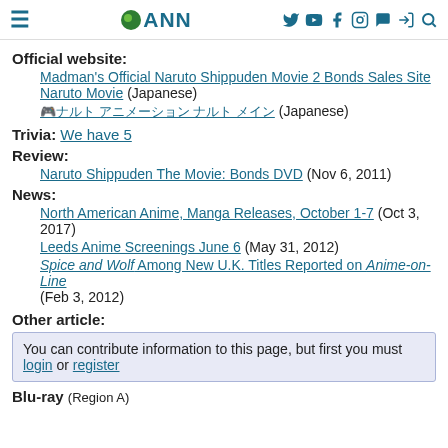ANN (Anime News Network)
Official website:
Madman's Official Naruto Shippuden Movie 2 Bonds Sales Site Naruto Movie (Japanese)
[Japanese text link] (Japanese)
Trivia: We have 5
Review:
Naruto Shippuden The Movie: Bonds DVD (Nov 6, 2011)
News:
North American Anime, Manga Releases, October 1-7 (Oct 3, 2017)
Leeds Anime Screenings June 6 (May 31, 2012)
Spice and Wolf Among New U.K. Titles Reported on Anime-on-Line (Feb 3, 2012)
Other article:
You can contribute information to this page, but first you must login or register
Blu-ray (Region A)